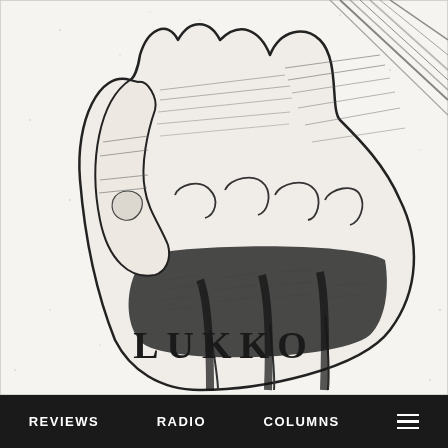[Figure (illustration): Black and white detailed pen illustration of a closed fist viewed from the front, with fingers curled downward, on a light speckled background. Below the fist is the word LUKKO in a serif stamp-style typeface.]
REVIEWS   RADIO   COLUMNS   ☰